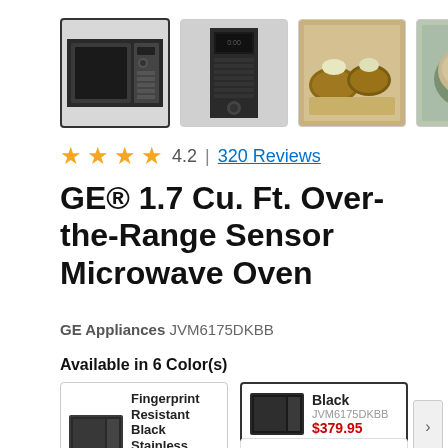[Figure (photo): Four product thumbnail images of a GE over-the-range microwave oven: front view (selected), control panel view, baked potatoes on plate, oatmeal in bowl]
4.2 | 320 Reviews
GE® 1.7 Cu. Ft. Over-the-Range Sensor Microwave Oven
GE Appliances JVM6175DKBB
Available in 6 Color(s)
[Figure (photo): Color swatch card: Fingerprint Resistant Black Stainless, JVM6175BLTS, $489.95]
[Figure (photo): Color swatch card: Black (selected), JVM6175DKBB, $379.95]
[Figure (photo): Partial color swatch card: White (partially visible at bottom)]